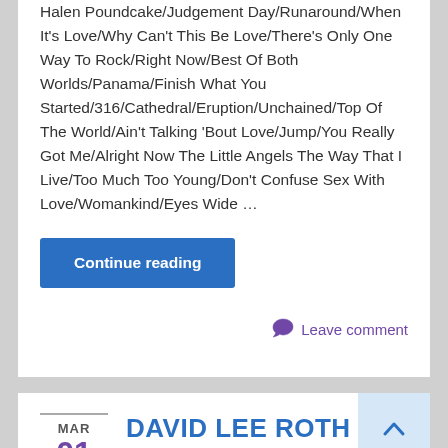Halen Poundcake/Judgement Day/Runaround/When It's Love/Why Can't This Be Love/There's Only One Way To Rock/Right Now/Best Of Both Worlds/Panama/Finish What You Started/316/Cathedral/Eruption/Unchained/Top Of The World/Ain't Talking 'Bout Love/Jump/You Really Got Me/Alright Now The Little Angels The Way That I Live/Too Much Too Young/Don't Confuse Sex With Love/Womankind/Eyes Wide ...
Continue reading
Leave comment
MAR 01
DAVID LEE ROTH